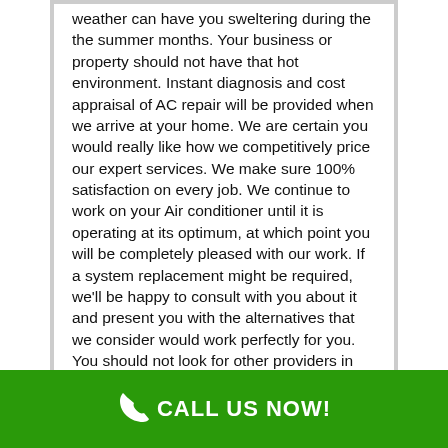weather can have you sweltering during the the summer months. Your business or property should not have that hot environment. Instant diagnosis and cost appraisal of AC repair will be provided when we arrive at your home. We are certain you would really like how we competitively price our expert services. We make sure 100% satisfaction on every job. We continue to work on your Air conditioner until it is operating at its optimum, at which point you will be completely pleased with our work. If a system replacement might be required, we'll be happy to consult with you about it and present you with the alternatives that we consider would work perfectly for you. You should not look for other providers in Carlton NY as Air Condition Pros of Carlton provide reliable and top-quality jobs. Our key concern is customer happiness and that is why we are the leader in our field. Let's talk over the jobs you need us to do. Contact us right now.
CALL US NOW!